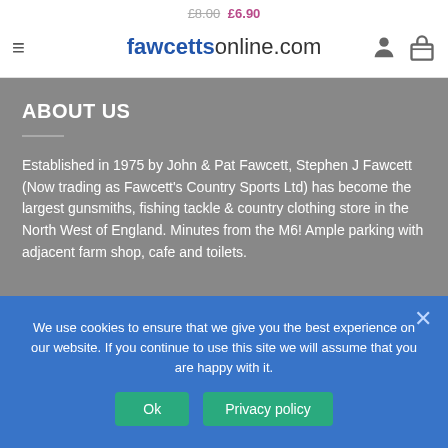fawcettsonline.com
ABOUT US
Established in 1975 by John & Pat Fawcett, Stephen J Fawcett (Now trading as Fawcett's Country Sports Ltd) has become the largest gunsmiths, fishing tackle & country clothing store in the North West of England. Minutes from the M6! Ample parking with adjacent farm shop, cafe and toilets.
We use cookies to ensure that we give you the best experience on our website. If you continue to use this site we will assume that you are happy with it.